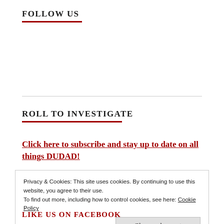FOLLOW US
ROLL TO INVESTIGATE
Click here to subscribe and stay up to date on all things DUDAD!
Privacy & Cookies: This site uses cookies. By continuing to use this website, you agree to their use.
To find out more, including how to control cookies, see here: Cookie Policy
Close and accept
LIKE US ON FACEBOOK